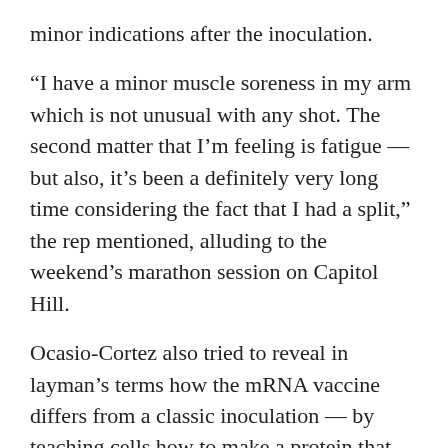minor indications after the inoculation.
“I have a minor muscle soreness in my arm which is not unusual with any shot. The second matter that I’m feeling is fatigue — but also, it’s been a definitely very long time considering the fact that I had a split,” the rep mentioned, alluding to the weekend’s marathon session on Capitol Hill.
Ocasio-Cortez also tried to reveal in layman’s terms how the mRNA vaccine differs from a classic inoculation — by teaching cells how to make a protein that triggers an immune response, as a substitute of injecting the client with a weakened or inactivated pressure of the virus.
“It’s kind of like the change between if you